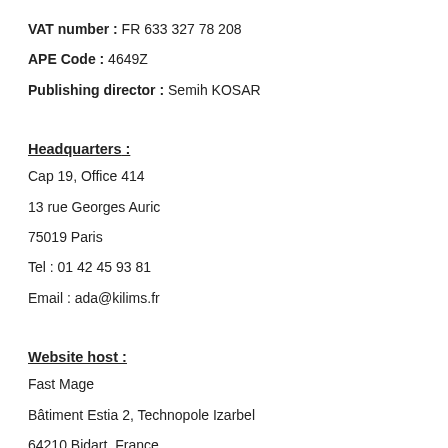VAT number : FR 633 327 78 208
APE Code : 4649Z
Publishing director : Semih KOSAR
Headquarters :
Cap 19, Office 414
13 rue Georges Auric
75019 Paris
Tel : 01 42 45 93 81
Email : ada@kilims.fr
Website host :
Fast Mage
Bâtiment Estia 2, Technopole Izarbel
64210 Bidart, France